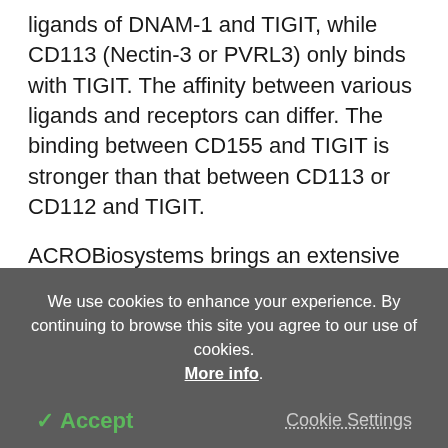ligands of DNAM-1 and TIGIT, while CD113 (Nectin-3 or PVRL3) only binds with TIGIT. The affinity between various ligands and receptors can differ. The binding between CD155 and TIGIT is stronger than that between CD113 or CD112 and TIGIT.
ACROBiosystems brings an extensive collection of recombinant proteins from TIGIT signaling axis. Besides the widely used Fc and His-labeled proteins, the company also brings multiple pre-biotinylated proteins such as Biotinylated Human CD155/PVR
We use cookies to enhance your experience. By continuing to browse this site you agree to our use of cookies. More info.
✓ Accept
Cookie Settings